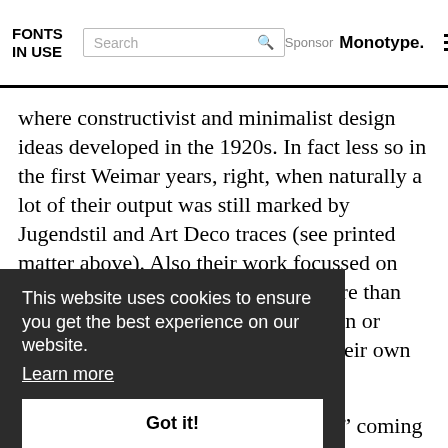FONTS IN USE | Search | Sponsor Monotype.
where constructivist and minimalist design ideas developed in the 1920s. In fact less so in the first Weimar years, right, when naturally a lot of their output was still marked by Jugendstil and Art Deco traces (see printed matter above). Also their work focussed on architectural and interior designs more than anything we'd now call graphic design or typography. They didn't even have their own print shop in the beginning.
I read the call for a “type of our time” coming from the Hellerau publisher Hegener in 1924, (see this article, pdf), presumably in conjunction with Tschichold’s publishing …ible that it got …g.
…have to live with the …synonyme for a whole period and style, nourished by numerous
Cookie banner: This website uses cookies to ensure you get the best experience on our website. Learn more. Got it!